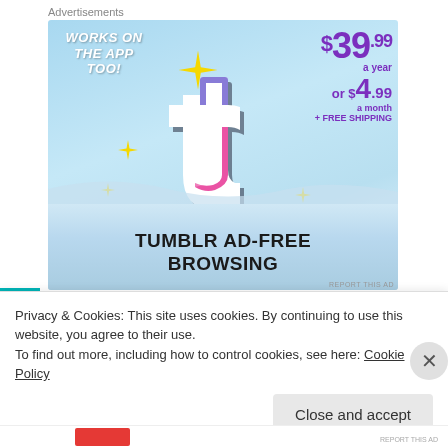Advertisements
[Figure (illustration): Tumblr Ad-Free Browsing advertisement banner. Shows Tumblr logo (blue/pink/white 't') with sparkles on a sky-blue background. Text: 'WORKS ON THE APP TOO!' on left side, '$39.99 a year or $4.99 a month + FREE SHIPPING' on right side in purple. Bottom reads 'TUMBLR AD-FREE BROWSING' in bold black text.]
Privacy & Cookies: This site uses cookies. By continuing to use this website, you agree to their use.
To find out more, including how to control cookies, see here: Cookie Policy
Close and accept